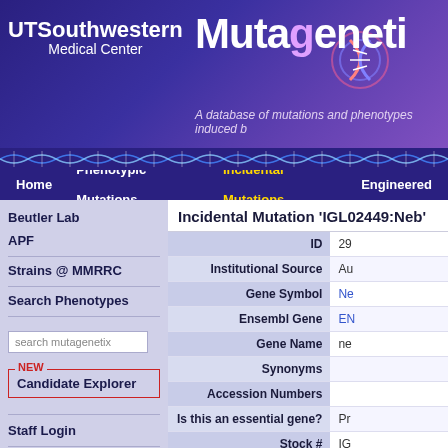[Figure (screenshot): UTSouthwestern Medical Center logo in white on purple header background]
Mutagenetix
A database of mutations and phenotypes induced b
[Figure (illustration): DNA helix decorative banner]
Home | Phenotypic Mutations | Incidental Mutations | Engineered
Incidental Mutation 'IGL02449:Neb'
| Field | Value |
| --- | --- |
| ID | 29 |
| Institutional Source | Au |
| Gene Symbol | Ne |
| Ensembl Gene | EN |
| Gene Name | ne |
| Synonyms |  |
| Accession Numbers |  |
| Is this an essential gene? | Pr |
| Stock # | IG |
| Quality Score |  |
Beutler Lab
APF
Strains @ MMRRC
Search Phenotypes
Candidate Explorer
Staff Login
Download